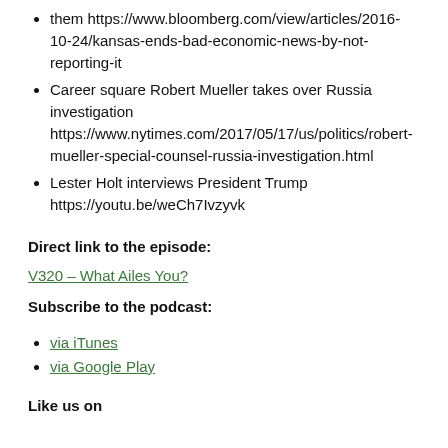them https://www.bloomberg.com/view/articles/2016-10-24/kansas-ends-bad-economic-news-by-not-reporting-it
Career square Robert Mueller takes over Russia investigation https://www.nytimes.com/2017/05/17/us/politics/robert-mueller-special-counsel-russia-investigation.html
Lester Holt interviews President Trump https://youtu.be/weCh7Ivzyvk
Direct link to the episode:
V320 – What Ailes You?
Subscribe to the podcast:
via iTunes
via Google Play
Like us on